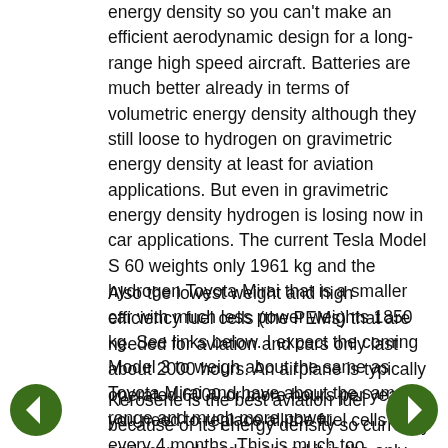energy density so you can't make an efficient aerodynamic design for a long-range high speed aircraft. Batteries are much better already in terms of volumetric energy density although they still loose to hydrogen on gravimetric energy density at least for aviation applications. But even in gravimetric energy density hydrogen is losing now in car applications. The current Tesla Model S 60 weights only 1961 kg and the hydrogen Toyota Mirai that is a smaller car with much less power weights 1850 kg. See links below. I expect the coming Model 3 to weigh about the same as Toyota Mirai and have about the same range and much more power.
Also the lowest weight and high efficiency fuel cells (the PEMs) that are needed for aviation and cars only last about 2000 hours. An airplane is typically operated 6000 or more hours per year so you need to replace all the fuel cells every 4 months. This is much too expensive.
Kerosene is the best aviation fuel because of its energy density so currently and many decades ahead it is the only